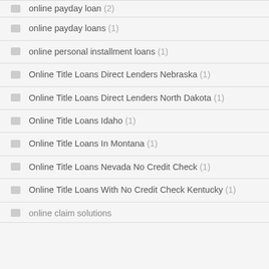online payday loan (2)
online payday loans (1)
online personal installment loans (1)
Online Title Loans Direct Lenders Nebraska (1)
Online Title Loans Direct Lenders North Dakota (1)
Online Title Loans Idaho (1)
Online Title Loans In Montana (1)
Online Title Loans Nevada No Credit Check (1)
Online Title Loans With No Credit Check Kentucky (1)
online claim solutions (?)